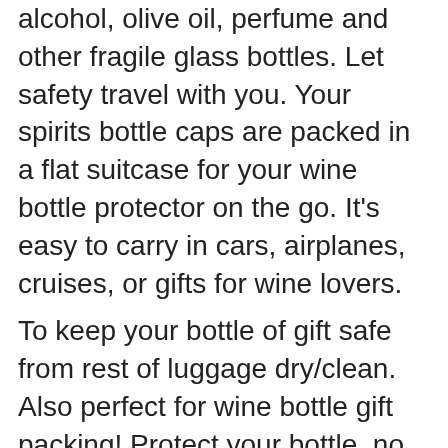alcohol, olive oil, perfume and other fragile glass bottles. Let safety travel with you. Your spirits bottle caps are packed in a flat suitcase for your wine bottle protector on the go. It's easy to carry in cars, airplanes, cruises, or gifts for wine lovers.
To keep your bottle of gift safe from rest of luggage dry/clean. Also perfect for wine bottle gift packing! Protect your bottle, no more broken bottles in your suitcase or car trunk, this bottle protection sleeve is the choice if you are transporting glass travel size bottle.
This is a reusable product, and I think buying them can be reused to protect your beloved wine. We believe that our products will exceed your expectations-because of the use of good materials and processes.